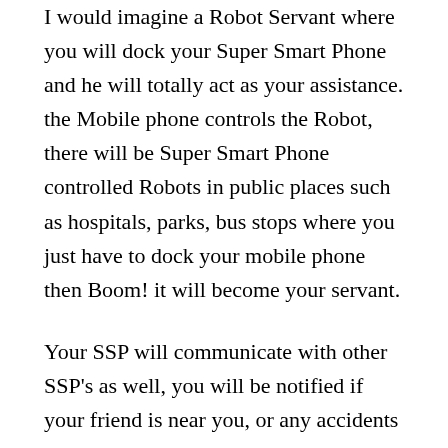I would imagine a Robot Servant where you will dock your Super Smart Phone and he will totally act as your assistance. the Mobile phone controls the Robot, there will be Super Smart Phone controlled Robots in public places such as hospitals, parks, bus stops where you just have to dock your mobile phone then Boom! it will become your servant.
Your SSP will communicate with other SSP's as well, you will be notified if your friend is near you, or any accidents on your way.
when you are in the supermarket you just have to open your SSP Thinks to Buy App, then it will connects to product QR code then show the locations of the list that you need to buy, no need to waste your time, you will be